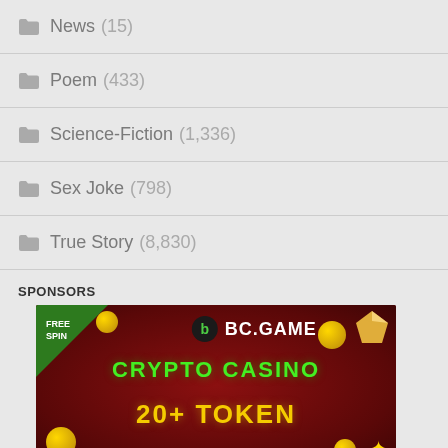News (15)
Poem (433)
Science-Fiction (1,336)
Sex Joke (798)
True Story (8,830)
SPONSORS
[Figure (photo): BC.GAME crypto casino advertisement: dark red background with FREE SPIN banner, BC.GAME logo, text reading CRYPTO CASINO 20+ TOKEN in green and yellow, with gold coins and gems decorations]